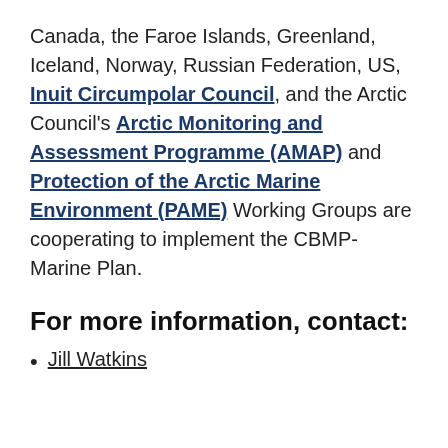Canada, the Faroe Islands, Greenland, Iceland, Norway, Russian Federation, US, Inuit Circumpolar Council, and the Arctic Council's Arctic Monitoring and Assessment Programme (AMAP) and Protection of the Arctic Marine Environment (PAME) Working Groups are cooperating to implement the CBMP-Marine Plan.
For more information, contact:
Jill Watkins